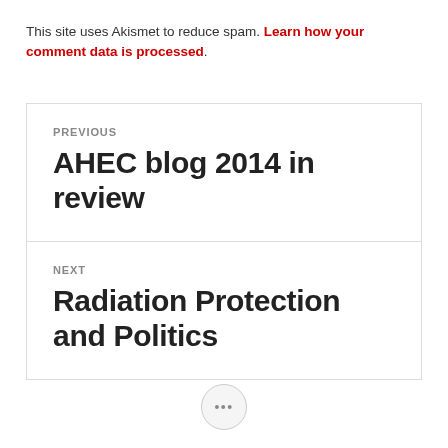This site uses Akismet to reduce spam. Learn how your comment data is processed.
PREVIOUS
AHEC blog 2014 in review
NEXT
Radiation Protection and Politics